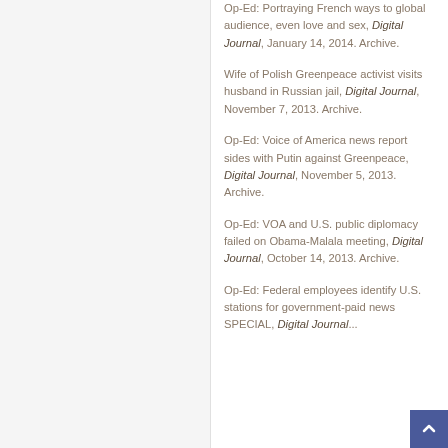Op-Ed: Portraying French ways to global audience, even love and sex, Digital Journal, January 14, 2014. Archive.
Wife of Polish Greenpeace activist visits husband in Russian jail, Digital Journal, November 7, 2013. Archive.
Op-Ed: Voice of America news report sides with Putin against Greenpeace, Digital Journal, November 5, 2013. Archive.
Op-Ed: VOA and U.S. public diplomacy failed on Obama-Malala meeting, Digital Journal, October 14, 2013. Archive.
Op-Ed: Federal employees identify U.S. stations for government-paid SPECIAL, Digital Journal...